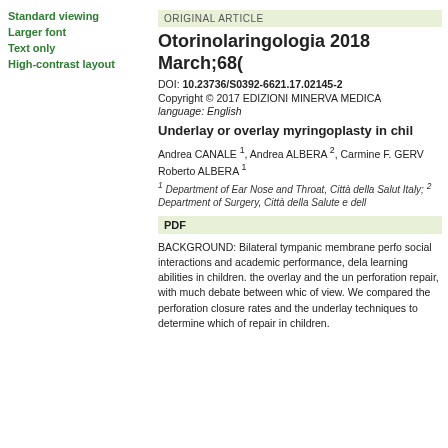Standard viewing
Larger font
Text only
High-contrast layout
ORIGINAL ARTICLE
Otorinolaringologia 2018 March;68(
DOI: 10.23736/S0392-6621.17.02145-2
Copyright © 2017 EDIZIONI MINERVA MEDICA
language: English
Underlay or overlay myringoplasty in chil
Andrea CANALE 1, Andrea ALBERA 2, Carmine F. GERV Roberto ALBERA 1
1 Department of Ear Nose and Throat, Città della Salut Italy; 2 Department of Surgery, Città della Salute e dell
PDF
BACKGROUND: Bilateral tympanic membrane perfo social interactions and academic performance, dela learning abilities in children. the overlay and the un perforation repair, with much debate between whic of view. We compared the perforation closure rates and the underlay techniques to determine which of repair in children.